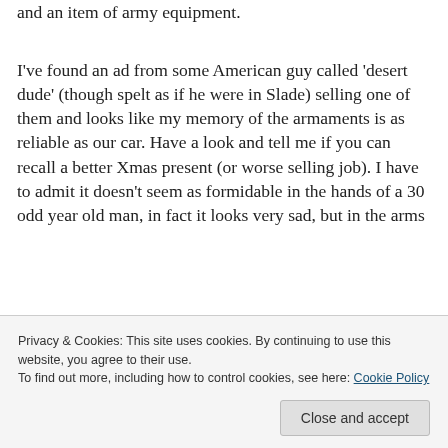and an item of army equipment.
I've found an ad from some American guy called 'desert dude' (though spelt as if he were in Slade) selling one of them and looks like my memory of the armaments is as reliable as our car. Have a look and tell me if you can recall a better Xmas present (or worse selling job). I have to admit it doesn't seem as formidable in the hands of a 30 odd year old man, in fact it looks very sad, but in the arms
Privacy & Cookies: This site uses cookies. By continuing to use this website, you agree to their use.
To find out more, including how to control cookies, see here: Cookie Policy
Close and accept